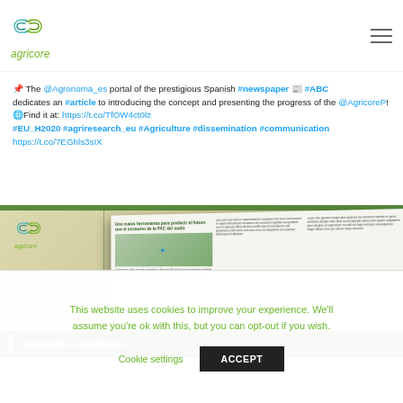[Figure (logo): Agricore logo with interlocked chain link shapes in green and teal, with text 'agricore' below in olive green italic]
📌 The @Agronoma_es portal of the prestigious Spanish #newspaper 📰 #ABC dedicates an #article to introducing the concept and presenting the progress of the @AgricoreP!
🌐Find it at: https://t.co/TfOW4ct0lz
#EU_H2020 #agriresearch_eu #Agriculture #dissemination #communication https://t.co/7EGhls3sIX
[Figure (screenshot): Agricore promotional image showing a magazine open to an article about Agricore at Agrónoma, with the Agricore logo in the top left and a green bar at bottom with text 'AGRICORE at AGRÓNOMA']
This website uses cookies to improve your experience. We'll assume you're ok with this, but you can opt-out if you wish.
Cookie settings    ACCEPT